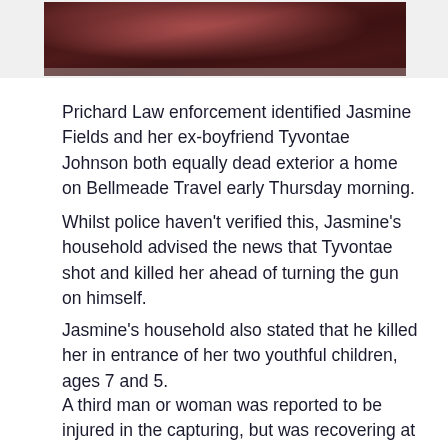[Figure (photo): Partial photo at the top of the page showing a dark reddish-brown image, cropped at the bottom]
Prichard Law enforcement identified Jasmine Fields and her ex-boyfriend Tyvontae Johnson both equally dead exterior a home on Bellmeade Travel early Thursday morning.
Whilst police haven't verified this, Jasmine's household advised the news that Tyvontae shot and killed her ahead of turning the gun on himself.
Jasmine's household also stated that he killed her in entrance of her two youthful children, ages 7 and 5.
A third man or woman was reported to be injured in the capturing, but was recovering at the medical center.